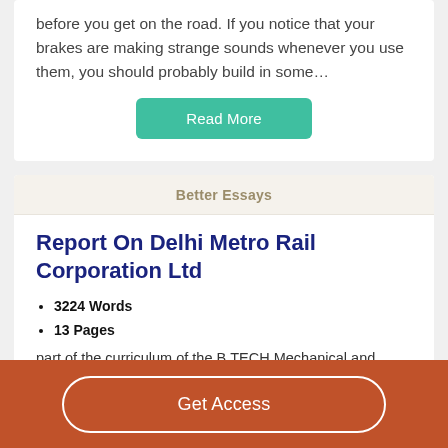before you get on the road. If you notice that your brakes are making strange sounds whenever you use them, you should probably build in some…
Read More
Better Essays
Report On Delhi Metro Rail Corporation Ltd
3224 Words
13 Pages
part of the curriculum of the B.TECH Mechanical and
Get Access